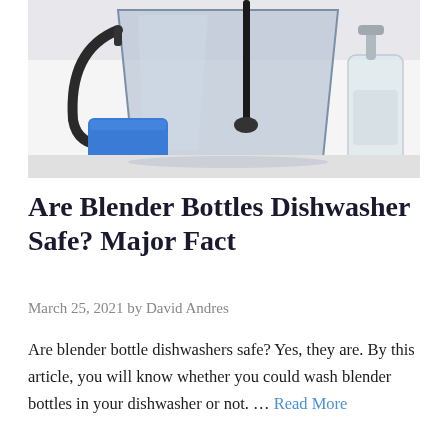[Figure (photo): A blender jar with a black handle on the left, a blue sponge leaning against it, a brush in the blender, and a clear soap dispenser bottle to the right, all on a white surface.]
Are Blender Bottles Dishwasher Safe? Major Fact
March 25, 2021 by David Andres
Are blender bottle dishwashers safe? Yes, they are. By this article, you will know whether you could wash blender bottles in your dishwasher or not. … Read More